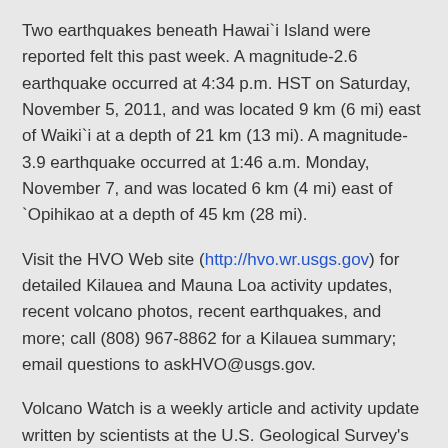Two earthquakes beneath Hawai`i Island were reported felt this past week. A magnitude-2.6 earthquake occurred at 4:34 p.m. HST on Saturday, November 5, 2011, and was located 9 km (6 mi) east of Waiki`i at a depth of 21 km (13 mi). A magnitude-3.9 earthquake occurred at 1:46 a.m. Monday, November 7, and was located 6 km (4 mi) east of `Opihikao at a depth of 45 km (28 mi).
Visit the HVO Web site (http://hvo.wr.usgs.gov) for detailed Kilauea and Mauna Loa activity updates, recent volcano photos, recent earthquakes, and more; call (808) 967-8862 for a Kilauea summary; email questions to askHVO@usgs.gov.
Volcano Watch is a weekly article and activity update written by scientists at the U.S. Geological Survey's Hawaiian Volcano Observatory.